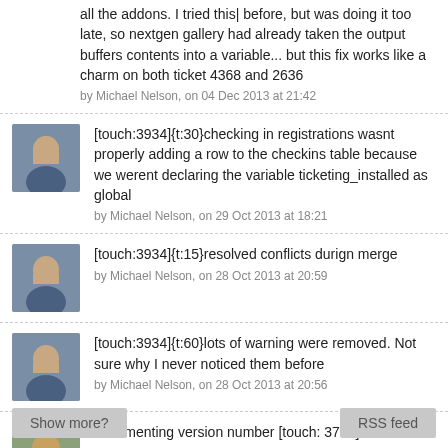all the addons. I tried this| before, but was doing it too late, so nextgen gallery had already taken the output buffers contents into a variable... but this fix works like a charm on both ticket 4368 and 2636
by Michael Nelson, on 04 Dec 2013 at 21:42
[touch:3934]{t:30}checking in registrations wasnt properly adding a row to the checkins table because we werent declaring the variable ticketing_installed as global
by Michael Nelson, on 29 Oct 2013 at 18:21
[touch:3934]{t:15}resolved conflicts durign merge
by Michael Nelson, on 28 Oct 2013 at 20:59
[touch:3934]{t:60}lots of warning were removed. Not sure why I never noticed them before
by Michael Nelson, on 28 Oct 2013 at 20:56
incrementing version number [touch: 3740]
by Josh Feck, on 14 Oct 2013 at 16:07